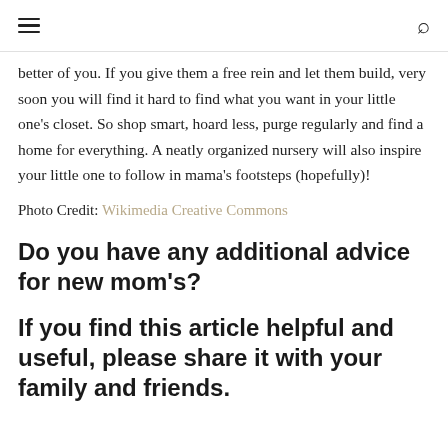≡  🔍
better of you. If you give them a free rein and let them build, very soon you will find it hard to find what you want in your little one's closet. So shop smart, hoard less, purge regularly and find a home for everything. A neatly organized nursery will also inspire your little one to follow in mama's footsteps (hopefully)!
Photo Credit: Wikimedia Creative Commons
Do you have any additional advice for new mom's?
If you find this article helpful and useful, please share it with your family and friends.